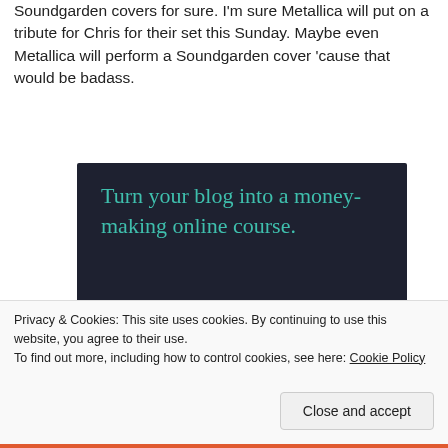Soundgarden covers for sure. I'm sure Metallica will put on a tribute for Chris for their set this Sunday. Maybe even Metallica will perform a Soundgarden cover 'cause that would be badass.
[Figure (infographic): Dark navy advertisement box with teal/green text reading 'Turn your blog into a money-making online course.' with a teal 'Learn More' button and the Sensei logo at the bottom right.]
Privacy & Cookies: This site uses cookies. By continuing to use this website, you agree to their use.
To find out more, including how to control cookies, see here: Cookie Policy
Close and accept